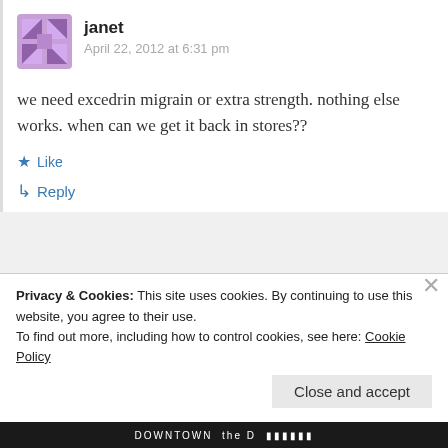janet
April 22, 2012 at 6:31 pm
we need excedrin migrain or extra strength. nothing else works. when can we get it back in stores??
Like
Reply
Charlie
Privacy & Cookies: This site uses cookies. By continuing to use this website, you agree to their use. To find out more, including how to control cookies, see here: Cookie Policy
Close and accept